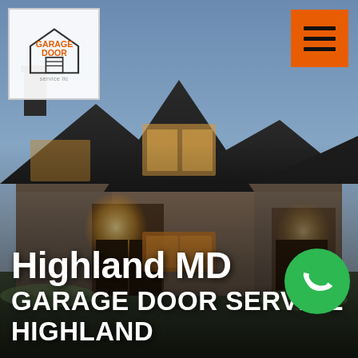[Figure (photo): Exterior night/dusk photo of a large stone and dark metal roof craftsman-style house with warm interior lighting and wooden entrance features.]
[Figure (logo): Garage Door company logo: a house icon outline with orange text 'GARAGE DOOR' inside and small text below.]
[Figure (other): Orange square hamburger menu button with three horizontal lines (≡).]
Highland MD
GARAGE DOOR SERVICE HIGHLAND
[Figure (other): Green circular phone/call button with white telephone handset icon.]